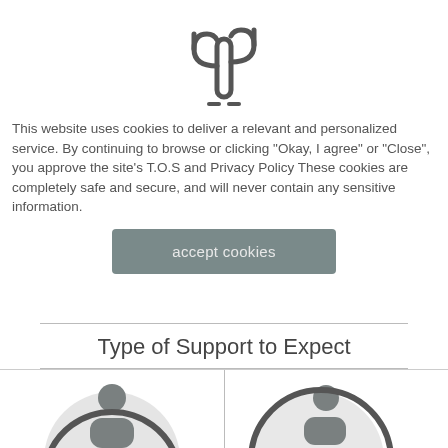[Figure (logo): Cactus icon outline logo in dark gray]
This website uses cookies to deliver a relevant and personalized service. By continuing to browse or clicking “Okay, I agree” or "Close", you approve the site’s T.O.S and Privacy Policy These cookies are completely safe and secure, and will never contain any sensitive information.
[Figure (other): Accept cookies button - rounded rectangle gray button with text 'accept cookies']
Type of Support to Expect
[Figure (illustration): Two side-by-side illustrated person/avatar icons at the bottom of the page, partially visible]